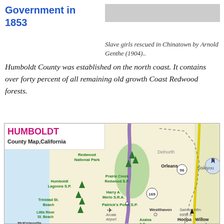Slave girls rescued in Chinatown by Arnold Genthe (1904)..
Government in 1853
Humboldt County was established on the north coast. It contains over forty percent of all remaining old growth Coast Redwood forests.
[Figure (map): Humboldt County Map, California showing Redwood National Park, Prairie Creek Redwood S.P., Harry A. Merlo S.R.A., Patrick's Point S.P., Humboldt Lagoons S.P., Trinidad St. Beach, Little River St. Beach, McKinleyville, Westthaven, Arcata Airport, Azalea S.R., Orleans, Hoopa, Willow Creek, Siskiyou, Delnurth, Salmon Mtn. 6956 ft., routes 96 and 169.]